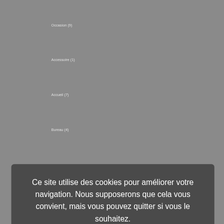Occasion (9)
Accessoire (1)
Accueil (7)
Bureau (4)
Ce site utilise des cookies pour améliorer votre navigation. Nous supposerons que cela vous convient, mais vous pouvez quitter si vous le souhaitez.
Réunion (4)
Siège (16)
Article Ouest France